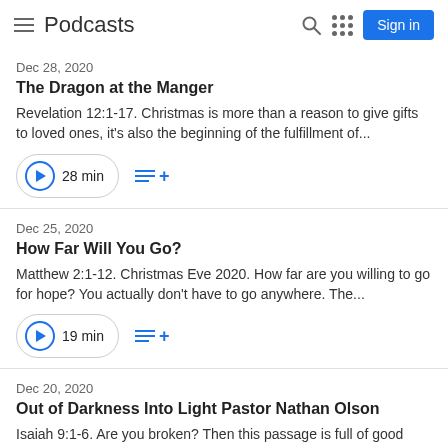Podcasts
Dec 28, 2020
The Dragon at the Manger
Revelation 12:1-17. Christmas is more than a reason to give gifts to loved ones, it's also the beginning of the fulfillment of...
28 min
Dec 25, 2020
How Far Will You Go?
Matthew 2:1-12. Christmas Eve 2020. How far are you willing to go for hope? You actually don't have to go anywhere. The...
19 min
Dec 20, 2020
Out of Darkness Into Light Pastor Nathan Olson
Isaiah 9:1-6. Are you broken? Then this passage is full of good news for you!